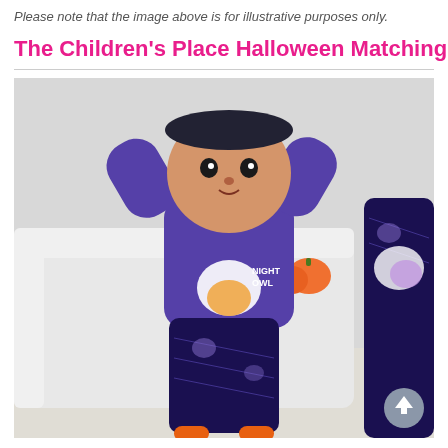Please note that the image above is for illustrative purposes only.
The Children's Place Halloween Matching Pa
[Figure (photo): A baby/toddler wearing purple Halloween 'Night Owl' pajamas with a witch hat owl on the moon graphic on the shirt and purple patterned pants with owls and spiderwebs. The child has arms raised up, wearing a dark headband. Background shows a white sofa and small orange pumpkin. Partial view of another person in matching pajamas on the right edge. A scroll-up button visible at bottom right.]